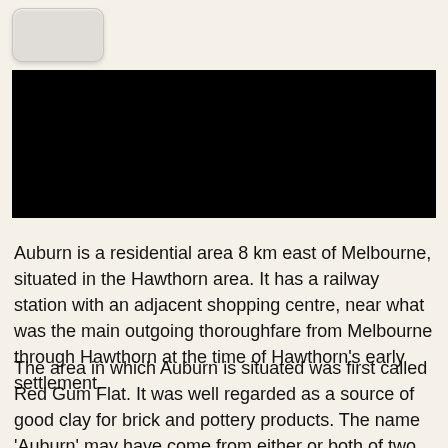[Figure (other): A light grey rounded rectangle button UI element]
[Figure (other): A solid black rectangular bar, likely redacted image or header image area]
Auburn is a residential area 8 km east of Melbourne, situated in the Hawthorn area. It has a railway station with an adjacent shopping centre, near what was the main outgoing thoroughfare from Melbourne through Hawthorn at the time of Hawthorn's early settlement.
The area in which Auburn is situated was first called Red Gum Flat. It was well regarded as a source of good clay for brick and pottery products. The name 'Auburn' may have come from either or both of two residences built in the 1850s. Auburn Lodge, built by Reverend Henry Liddiard,